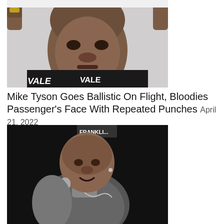[Figure (photo): Close-up photo of Mike Tyson wearing a black and white patterned shirt, looking forward with fists raised, against a white background]
Mike Tyson Goes Ballistic On Flight, Bloodies Passenger's Face With Repeated Punches April 21, 2022
[Figure (photo): Black and white photo of a bald man (resembling Tupac Shakur) holding a microphone, wearing jewelry including a watch and chain, with 'FRANKLIN' sign visible in background]